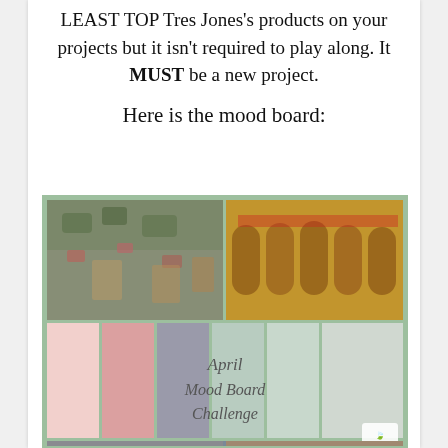LEAST TOP Tres Jones's products on your projects but it isn't required to play along. It MUST be a new project.
Here is the mood board:
[Figure (photo): Mood board collage showing European street scenes with flower-covered stone walls and warm-toned archways, plus color swatches in pale pink, dusty rose, gray, and sage green with 'April Mood Board Challenge' text, and a bottom landscape photo.]